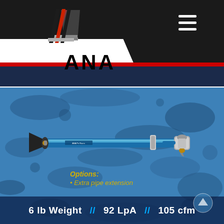[Figure (logo): ANA company logo with diagonal stripe emblem above the text ANA]
[Figure (photo): Product photo of a blue pneumatic pipe extension tool/blow gun with a black cone nozzle on the left end and a silver trigger handle on the right, displayed on a blue mottled background. Options listed: Extra pipe extension. Specs: 6 lb Weight // 92 LpA // 105 cfm]